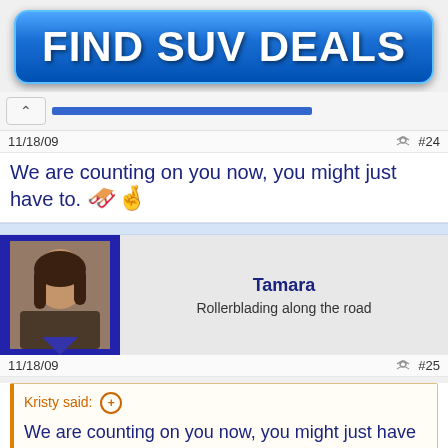[Figure (other): Blue gradient button banner with bold white text reading FIND SUV DEALS]
11/18/09   #24
We are counting on you now, you might just have to. 🛷👋
[Figure (photo): User avatar photo of Tamara, a woman with long brown hair]
Tamara
Rollerblading along the road
11/18/09   #25
Kristy said: ⊕
We are counting on you now, you might just have to. 🛷👋